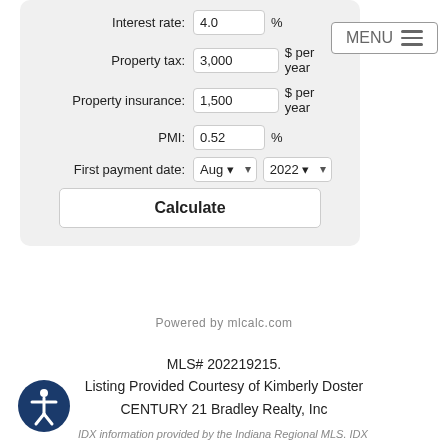[Figure (screenshot): Mortgage calculator form with fields: Interest rate (4.0 %), Property tax (3,000 $ per year), Property insurance (1,500 $ per year), PMI (0.52 %), First payment date (Aug 2022), and a Calculate button]
[Figure (other): MENU button with hamburger icon in top right]
Powered by mlcalc.com
MLS# 202219215.
Listing Provided Courtesy of Kimberly Doster
CENTURY 21 Bradley Realty, Inc
[Figure (other): Accessibility icon - blue circle with white figure]
IDX information provided by the Indiana Regional MLS. IDX